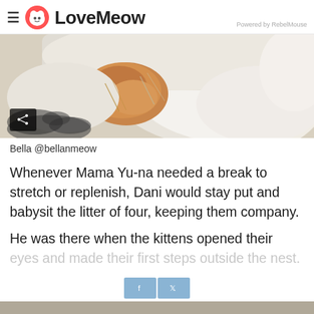LoveMeow — Powered by RebelMouse
[Figure (photo): Close-up photo of cats — a white fluffy cat and an orange/brown kitten snuggled together]
Bella @bellanmeow
Whenever Mama Yu-na needed a break to stretch or replenish, Dani would stay put and babysit the litter of four, keeping them company.
He was there when the kittens opened their eyes and made their first steps outside the nest.